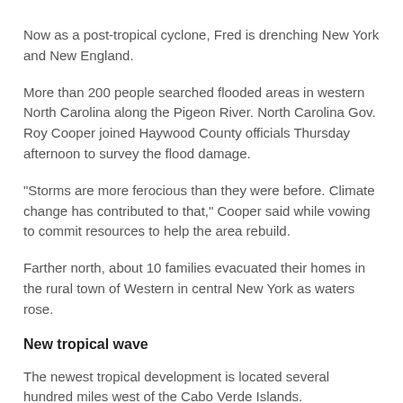Now as a post-tropical cyclone, Fred is drenching New York and New England.
More than 200 people searched flooded areas in western North Carolina along the Pigeon River. North Carolina Gov. Roy Cooper joined Haywood County officials Thursday afternoon to survey the flood damage.
“Storms are more ferocious than they were before. Climate change has contributed to that,” Cooper said while vowing to commit resources to help the area rebuild.
Farther north, about 10 families evacuated their homes in the rural town of Western in central New York as waters rose.
New tropical wave
The newest tropical development is located several hundred miles west of the Cabo Verde Islands.
Right now it is only a broad area of disorganized showers and thunderstorms, but forecasters said it does have a chance to develop into